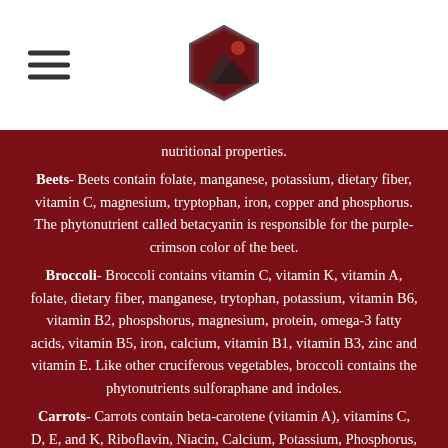[Figure (logo): Hexagonal logo with red/dark imagery, centered in page header]
nutritional properties.
Beets- Beets contain folate, manganese, potassium, dietary fiber, vitamin C, magnesium, tryptophan, iron, copper and phosphorus. The phytonutrient called betacyanin is responsible for the purple-crimson color of the beet.
Broccoli- Broccoli contains vitamin C, vitamin K, vitamin A, folate, dietary fiber, manganese, trytophan, potassium, vitamin B6, vitamin B2, phospshorus, magnesium, protein, omega-3 fatty acids, vitamin B5, iron, calcium, vitamin B1, vitamin B3, zinc and vitamin E. Like other cruciferous vegetables, broccoli contains the phytonutrients sulforaphane and indoles.
Carrots- Carrots contain beta-carotene (vitamin A), vitamins C, D, E, and K, Riboflavin, Niacin, Calcium, Potassium, Phosphorus, Sodium and Iron.
Celery- Celery contains fiber, potassium and vitamin C. It also contains some vitamin A, calcium, and the antioxidants